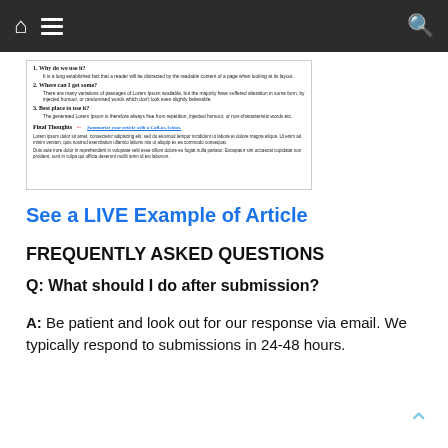Navigation bar with home, menu, and search icons
[Figure (screenshot): Screenshot of an article template showing numbered sections: 1. Why do we use it?, 2. Where can I get some?, 3. Best place to use it?, Final Thoughts with red arrow and blue CTA text 'Summarize your article with a Call-to-Action', followed by lorem ipsum body text.]
See a LIVE Example of Article
FREQUENTLY ASKED QUESTIONS
Q: What should I do after submission?
A: Be patient and look out for our response via email. We typically respond to submissions in 24-48 hours.
Q: What do I do if my submission is rejected?